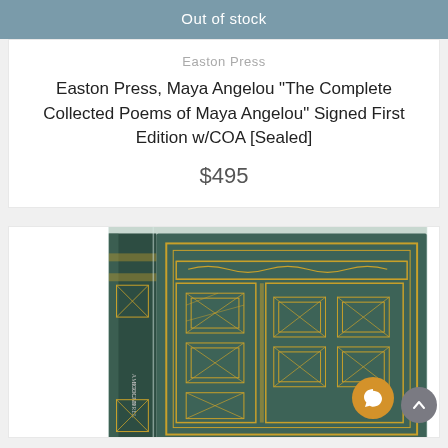Out of stock
Easton Press
Easton Press, Maya Angelou "The Complete Collected Poems of Maya Angelou" Signed First Edition w/COA [Sealed]
$495
[Figure (photo): Photo of a dark green leather-bound Easton Press book with gold decorative embossing on the cover and spine, still sealed in plastic wrap. The spine shows text 'AMERICAN SCOUNDREL'.]